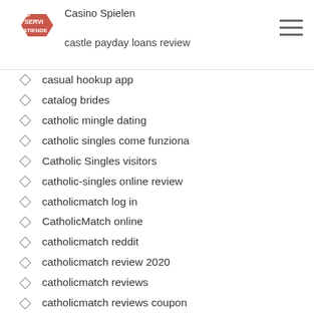Casino Spielen | castle payday loans review
casual hookup app
catalog brides
catholic mingle dating
catholic singles come funziona
Catholic Singles visitors
catholic-singles online review
catholicmatch log in
CatholicMatch online
catholicmatch reddit
catholicmatch review 2020
catholicmatch reviews
catholicmatch reviews coupon
catholicmatch reviews log in
catholicmatch reviews login
Catholicmatch sign in
CatholicSingles 2valuation